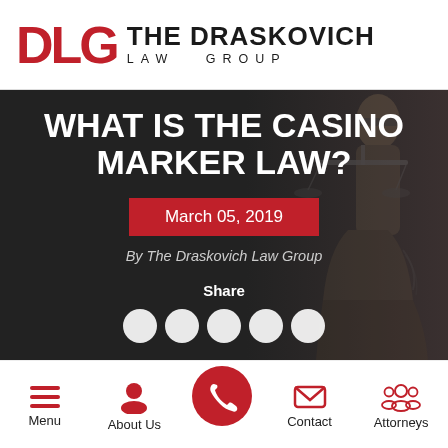[Figure (logo): DLG - The Draskovich Law Group logo with red DLG letters and black firm name]
[Figure (screenshot): Hero banner with dark background, Lady Justice silhouette on right side]
WHAT IS THE CASINO MARKER LAW?
March 05, 2019
By The Draskovich Law Group
Share
[Figure (infographic): Bottom navigation bar with Menu, About Us, phone call button, Contact, and Attorneys icons]